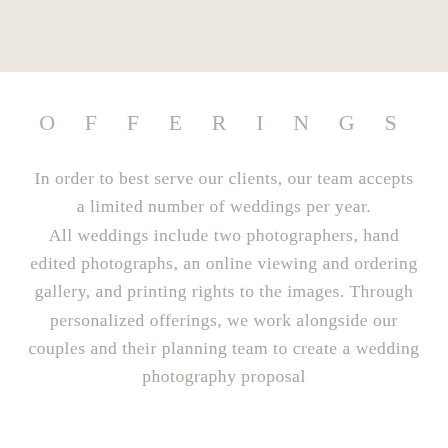OFFERINGS
In order to best serve our clients, our team accepts a limited number of weddings per year. All weddings include two photographers, hand edited photographs, an online viewing and ordering gallery, and printing rights to the images. Through personalized offerings, we work alongside our couples and their planning team to create a wedding photography proposal